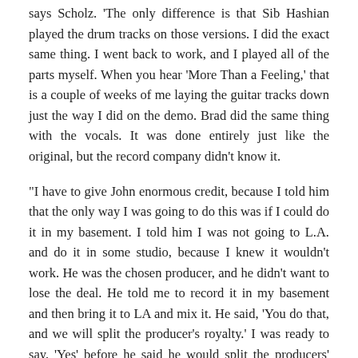says Scholz. 'The only difference is that Sib Hashian played the drum tracks on those versions. I did the exact same thing. I went back to work, and I played all of the parts myself. When you hear 'More Than a Feeling,' that is a couple of weeks of me laying the guitar tracks down just the way I did on the demo. Brad did the same thing with the vocals. It was done entirely just like the original, but the record company didn't know it.
"I have to give John enormous credit, because I told him that the only way I was going to do this was if I could do it in my basement. I told him I was not going to L.A. and do it in some studio, because I knew it wouldn't work. He was the chosen producer, and he didn't want to lose the deal. He told me to record it in my basement and then bring it to LA and mix it. He said, 'You do that, and we will split the producer's royalty.' I was ready to say, 'Yes' before he said he would split the producers' royalty. I was just thrilled to be getting paid to do this."